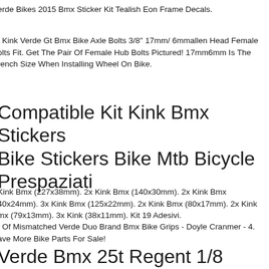erde Bikes 2015 Bmx Sticker Kit Tealish Eon Frame Decals.
t Kink Verde Gt Bmx Bike Axle Bolts 3/8" 17mm/ 6mmallen Head Female olts Fit. Get The Pair Of Female Hub Bolts Pictured! 17mm6mm Is The rench Size When Installing Wheel On Bike.
Compatible Kit Kink Bmx Stickers Bike Stickers Bike Mtb Bicycle Prespaziati
Kink Bmx (227x38mm). 2x Kink Bmx (140x30mm). 2x Kink Bmx 40x24mm). 3x Kink Bmx (125x22mm). 2x Kink Bmx (80x17mm). 2x Kink mx (79x13mm). 3x Kink (38x11mm). Kit 19 Adesivi.
t Of Mismatched Verde Duo Brand Bmx Bike Grips - Doyle Cranmer - 4. ave More Bike Parts For Sale!
Verde Bmx 25t Regent 1/8